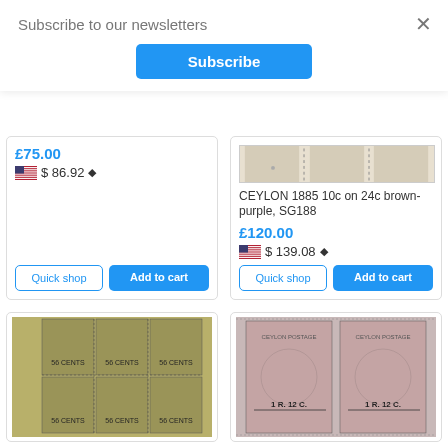Subscribe to our newsletters
Subscribe
×
£75.00
$ 86.92
Quick shop
Add to cart
CEYLON 1885 10c on 24c brown-purple, SG188
£120.00
$ 139.08
Quick shop
Add to cart
[Figure (photo): Ceylon stamp image - strip of stamps]
[Figure (photo): Ceylon stamps - block of 56 CENTS stamps]
[Figure (photo): Ceylon stamps - pair with 1R. 12C. overprint]